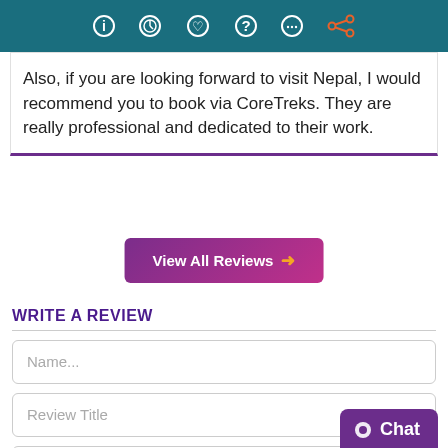Navigation bar with icons: info, clock, gift/package, help, chat, share
Also, if you are looking forward to visit Nepal, I would recommend you to book via CoreTreks. They are really professional and dedicated to their work.
View All Reviews →
WRITE A REVIEW
Name...
Review Title
2022/09/03
Chat